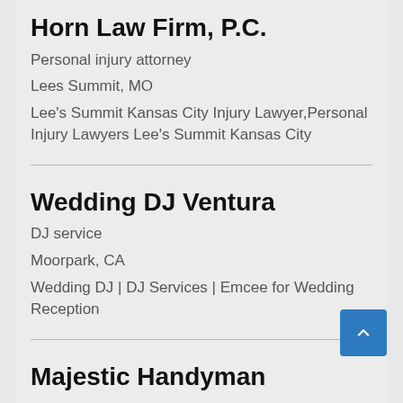Horn Law Firm, P.C.
Personal injury attorney
Lees Summit, MO
Lee's Summit Kansas City Injury Lawyer,Personal Injury Lawyers Lee's Summit Kansas City
Wedding DJ Ventura
DJ service
Moorpark, CA
Wedding DJ | DJ Services | Emcee for Wedding Reception
Majestic Handyman